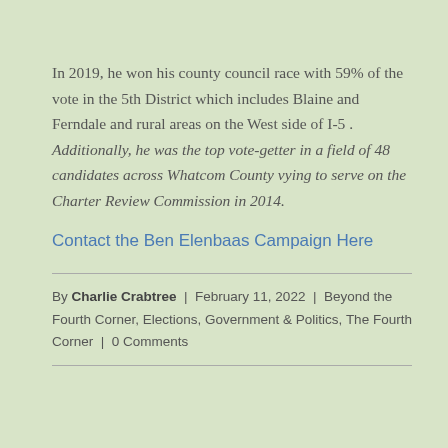In 2019, he won his county council race with 59% of the vote in the 5th District which includes Blaine and Ferndale and rural areas on the West side of I-5 . Additionally, he was the top vote-getter in a field of 48 candidates across Whatcom County vying to serve on the Charter Review Commission in 2014.
Contact the Ben Elenbaas Campaign Here
By Charlie Crabtree | February 11, 2022 | Beyond the Fourth Corner, Elections, Government & Politics, The Fourth Corner | 0 Comments